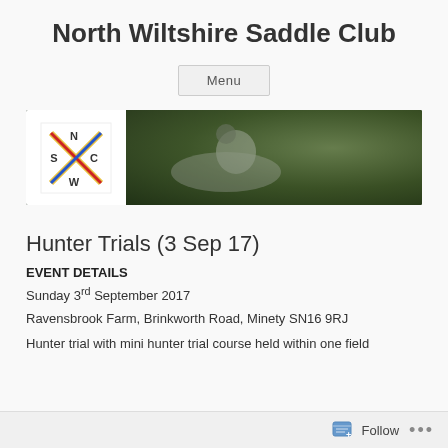North Wiltshire Saddle Club
[Figure (logo): Menu button in a rounded rectangle]
[Figure (photo): Banner image of North Wiltshire Saddle Club showing a rider on a horse with NSCW logo on the left side]
Hunter Trials (3 Sep 17)
EVENT DETAILS
Sunday 3rd September 2017
Ravensbrook Farm, Brinkworth Road, Minety SN16 9RJ
Hunter trial with mini hunter trial course held within one field